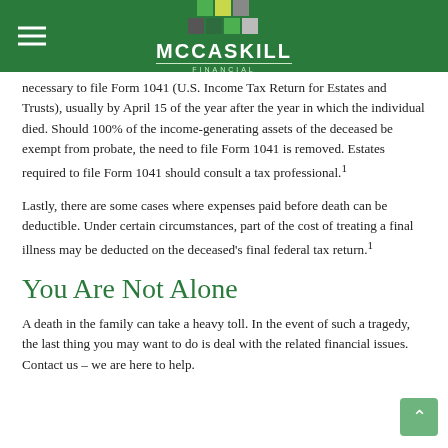McCaskill Financial
necessary to file Form 1041 (U.S. Income Tax Return for Estates and Trusts), usually by April 15 of the year after the year in which the individual died. Should 100% of the income-generating assets of the deceased be exempt from probate, the need to file Form 1041 is removed. Estates required to file Form 1041 should consult a tax professional.¹
Lastly, there are some cases where expenses paid before death can be deductible. Under certain circumstances, part of the cost of treating a final illness may be deducted on the deceased's final federal tax return.¹
You Are Not Alone
A death in the family can take a heavy toll. In the event of such a tragedy, the last thing you may want to do is deal with the related financial issues. Contact us – we are here to help.